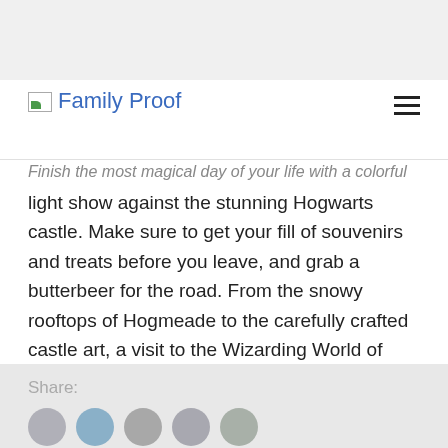Family Proof
Finish the most magical day of your life with a colorful light show against the stunning Hogwarts castle. Make sure to get your fill of souvenirs and treats before you leave, and grab a butterbeer for the road. From the snowy rooftops of Hogmeade to the carefully crafted castle art, a visit to the Wizarding World of Harry Potter is truly like no other.
Find more family vacation ideas here.
Share: